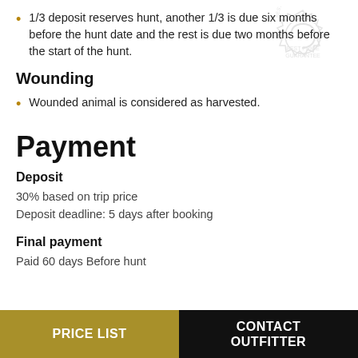1/3 deposit reserves hunt, another 1/3 is due six months before the hunt date and the rest is due two months before the start of the hunt.
Wounding
Wounded animal is considered as harvested.
Payment
Deposit
30% based on trip price
Deposit deadline: 5 days after booking
Final payment
Paid 60 days Before hunt
[Figure (illustration): Best Price Guarantee badge/seal watermark in top right corner]
PRICE LIST | CONTACT OUTFITTER